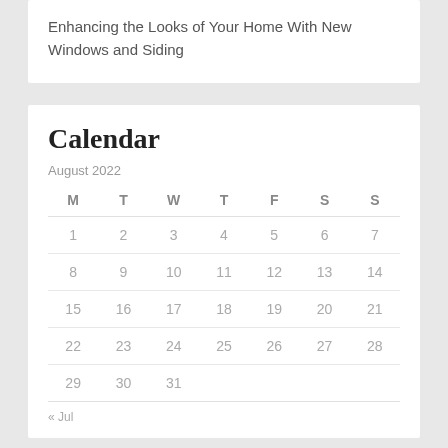Enhancing the Looks of Your Home With New Windows and Siding
Calendar
August 2022
| M | T | W | T | F | S | S |
| --- | --- | --- | --- | --- | --- | --- |
| 1 | 2 | 3 | 4 | 5 | 6 | 7 |
| 8 | 9 | 10 | 11 | 12 | 13 | 14 |
| 15 | 16 | 17 | 18 | 19 | 20 | 21 |
| 22 | 23 | 24 | 25 | 26 | 27 | 28 |
| 29 | 30 | 31 |  |  |  |  |
« Jul